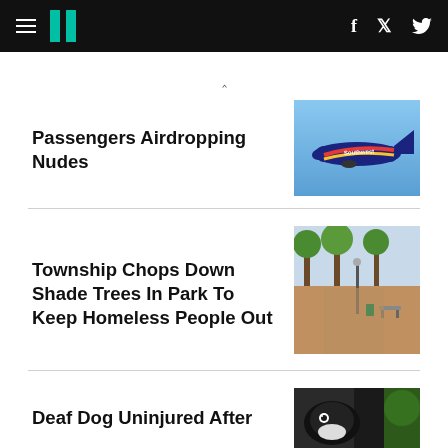HuffPost navigation with hamburger menu, logo, Facebook and Twitter icons
Passengers Airdropping Nudes
[Figure (photo): Southwest Airlines plane in flight against blue sky]
Township Chops Down Shade Trees In Park To Keep Homeless People Out
[Figure (photo): Public park with trees, benches and brick pathway]
Deaf Dog Uninjured After